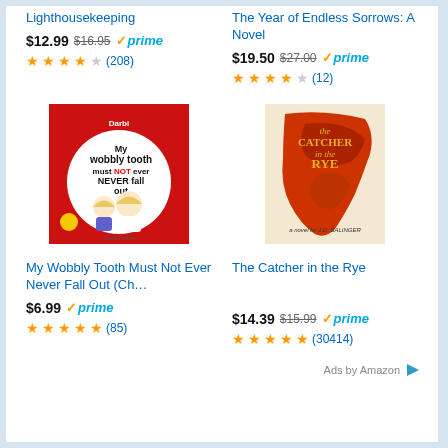Lighthousekeeping
$12.99 $16.95 prime
★★★★☆ (208)
The Year of Endless Sorrows: A Novel
$19.50 $27.00 prime
★★★★☆ (12)
[Figure (illustration): Book cover for My Wobbly Tooth Must Not Ever Never Fall Out by Lauren Child, featuring cartoon children on red background]
[Figure (illustration): Book cover for The Catcher in the Rye by J.D. Salinger, featuring red illustrated figures]
My Wobbly Tooth Must Not Ever Never Fall Out (Ch…
The Catcher in the Rye
$6.99 prime
$14.39 $15.99 prime
★★★★★ (85)
★★★★☆ (30414)
Ads by Amazon